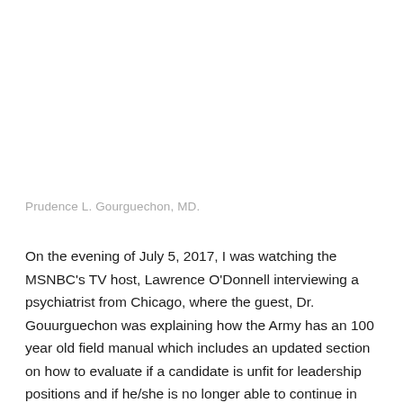Prudence L. Gourguechon, MD.
On the evening of July 5, 2017, I was watching the MSNBC's TV host, Lawrence O'Donnell interviewing a psychiatrist from Chicago, where the guest, Dr. Gouurguechon was explaining how the Army has an 100 year old field manual which includes an updated section on how to evaluate if a candidate is unfit for leadership positions and if he/she is no longer able to continue in